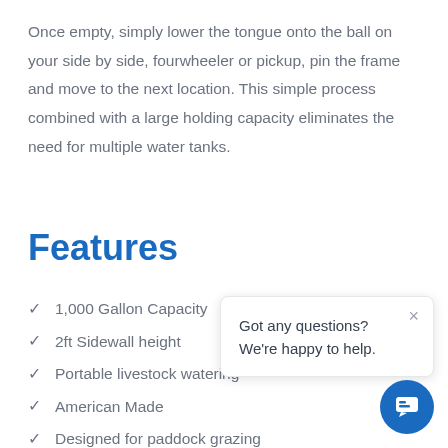Once empty, simply lower the tongue onto the ball on your side by side, fourwheeler or pickup, pin the frame and move to the next location. This simple process combined with a large holding capacity eliminates the need for multiple water tanks.
Features
1,000 Gallon Capacity
2ft Sidewall height
Portable livestock watering
American Made
Designed for paddock grazing
[Figure (screenshot): Chat popup overlay with text 'Got any questions? We're happy to help.' and a close (×) button, plus a blue circular chat button in the bottom right corner.]